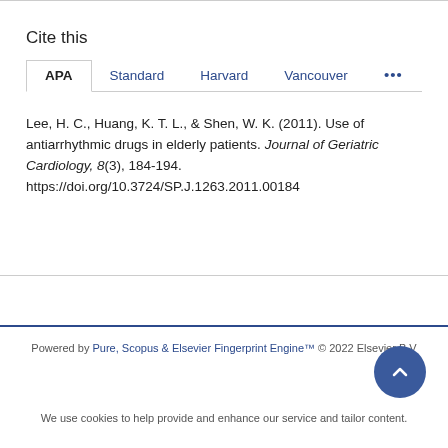Cite this
APA  Standard  Harvard  Vancouver  ...
Lee, H. C., Huang, K. T. L., & Shen, W. K. (2011). Use of antiarrhythmic drugs in elderly patients. Journal of Geriatric Cardiology, 8(3), 184-194. https://doi.org/10.3724/SP.J.1263.2011.00184
Powered by Pure, Scopus & Elsevier Fingerprint Engine™ © 2022 Elsevier B.V
We use cookies to help provide and enhance our service and tailor content.